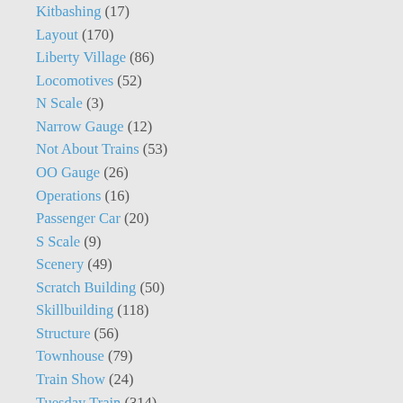Kitbashing (17)
Layout (170)
Liberty Village (86)
Locomotives (52)
N Scale (3)
Narrow Gauge (12)
Not About Trains (53)
OO Gauge (26)
Operations (16)
Passenger Car (20)
S Scale (9)
Scenery (49)
Scratch Building (50)
Skillbuilding (118)
Structure (56)
Townhouse (79)
Train Show (24)
Tuesday Train (314)
Uncategorized (1)
Workbench & Tools (15)